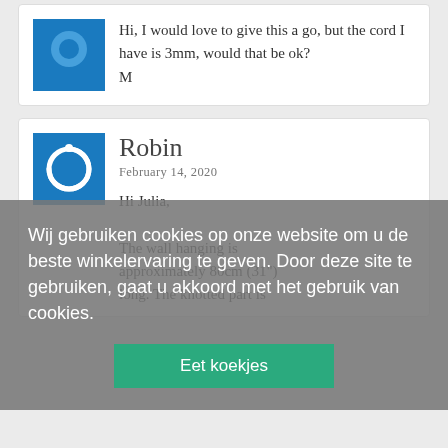Hi, I would love to give this a go, but the cord I have is 3mm, would that be ok?
M
[Figure (screenshot): Blue square avatar with circular power/link icon logo for Robin]
Robin
February 14, 2020
Hi Julia,

The wall hanging is approximately 80cm (31") long. The knotted part is
Wij gebruiken cookies op onze website om u de beste winkelervaring te geven. Door deze site te gebruiken, gaat u akkoord met het gebruik van cookies.
Eet koekjes